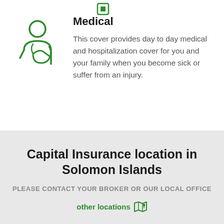[Figure (illustration): Green outlined icon of a person with arm in sling, representing medical/injury coverage]
Medical
This cover provides day to day medical and hospitalization cover for you and your family when you become sick or suffer from an injury.
Capital Insurance location in Solomon Islands
PLEASE CONTACT YOUR BROKER OR OUR LOCAL OFFICE
other locations